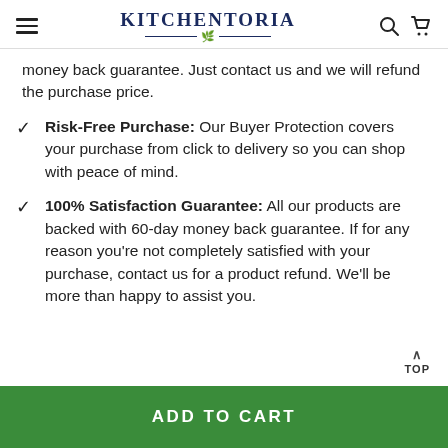KITCHENTORIA
money back guarantee. Just contact us and we will refund the purchase price.
Risk-Free Purchase: Our Buyer Protection covers your purchase from click to delivery so you can shop with peace of mind.
100% Satisfaction Guarantee: All our products are backed with 60-day money back guarantee. If for any reason you're not completely satisfied with your purchase, contact us for a product refund. We'll be more than happy to assist you.
TOP
ADD TO CART